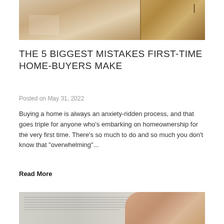[Figure (photo): Interior room photo showing wooden furniture and a door in warm tones]
THE 5 BIGGEST MISTAKES FIRST-TIME HOME-BUYERS MAKE
Posted on May 31, 2022
Buying a home is always an anxiety-ridden process, and that goes triple for anyone who's embarking on homeownership for the very first time. There's so much to do and so much you don't know that "overwhelming"...
Read More
[Figure (photo): Close-up photo of a person signing a document with a pen]